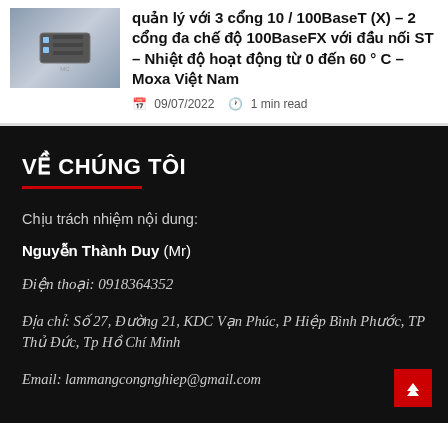[Figure (photo): Thumbnail image of a network switch device, Moxa brand]
quản lý với 3 cổng 10 / 100BaseT (X) – 2 cổng đa chế độ 100BaseFX với đầu nối ST – Nhiệt độ hoạt động từ 0 đến 60 ° C – Moxa Việt Nam
09/07/2022   1 min read
VỀ CHÚNG TÔI
Chịu trách nhiệm nội dung:
Nguyễn Thành Duy (Mr)
Điện thoại: 0918364352
Địa chỉ: Số 27, Đường 21, KDC Vạn Phúc, P Hiệp Bình Phước, TP Thủ Đức, Tp Hồ Chí Minh
Email: lammangcongnghiep@gmail.com